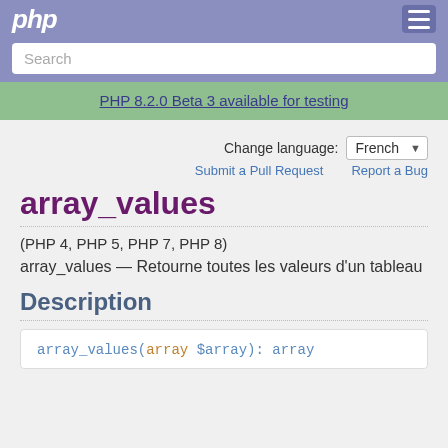php
Search
PHP 8.2.0 Beta 3 available for testing
Change language: French
Submit a Pull Request   Report a Bug
array_values
(PHP 4, PHP 5, PHP 7, PHP 8)
array_values — Retourne toutes les valeurs d'un tableau
Description
array_values(array $array): array